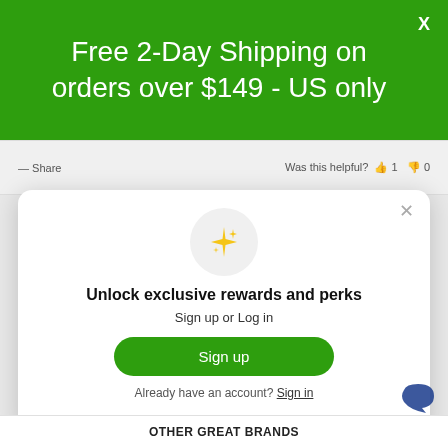Free 2-Day Shipping on orders over $149 - US only
Share   Was this helpful?   👍 1   👎 0
[Figure (screenshot): Sparkle/stars emoji icon in a light gray circle]
Unlock exclusive rewards and perks
Sign up or Log in
Sign up
Already have an account? Sign in
OTHER GREAT BRANDS